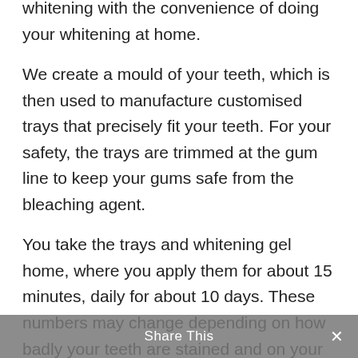whitening with the convenience of doing your whitening at home.
We create a mould of your teeth, which is then used to manufacture customised trays that precisely fit your teeth. For your safety, the trays are trimmed at the gum line to keep your gums safe from the bleaching agent.
You take the trays and whitening gel home, where you apply them for about 15 minutes, daily for about 10 days. These numbers may change depending on how badly your teeth are stained and on your lifestyle.
Your teeth may lighten between 6 and 10 shades as a result of your treatment. With take-home whitening, you must not consume any food or drink containing...
Share This